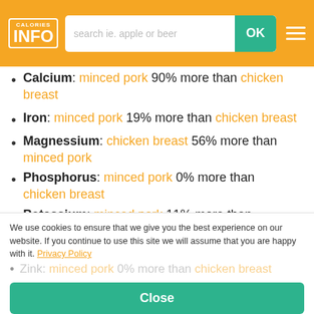CALORIES INFO - search ie. apple or beer - OK
Calcium: minced pork 90% more than chicken breast
Iron: minced pork 19% more than chicken breast
Magnessium: chicken breast 56% more than minced pork
Phosphorus: minced pork 0% more than chicken breast
Potassium: minced pork 11% more than chicken breast
Sodium: minced pork 8% more than chicken
Zink: minced pork 0% more than chicken breast
We use cookies to ensure that we give you the best experience on our website. If you continue to use this site we will assume that you are happy with it. Privacy Policy
Close